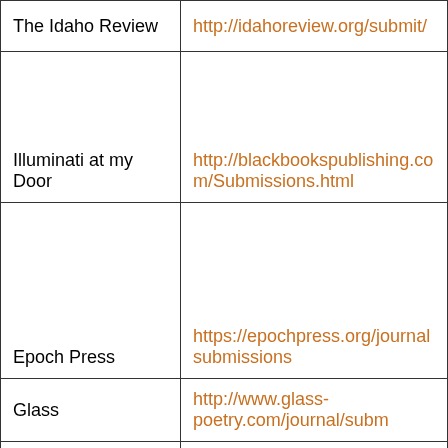| Publication | URL |
| --- | --- |
| The Idaho Review | http://idahoreview.org/submit/ |
| Illuminati at my Door | http://blackbookspublishing.com/Submissions.html |
| Epoch Press | https://epochpress.org/journalsubmissions |
| Glass | http://www.glass-poetry.com/journal/subm... |
| The Nation | https://www.thenation.com/submission-gu... |